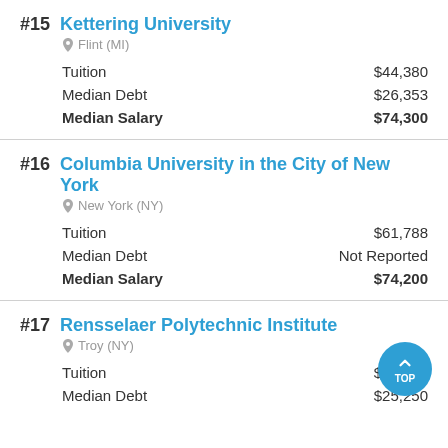#15 Kettering University
Flint (MI)
Tuition $44,380
Median Debt $26,353
Median Salary $74,300
#16 Columbia University in the City of New York
New York (NY)
Tuition $61,788
Median Debt Not Reported
Median Salary $74,200
#17 Rensselaer Polytechnic Institute
Troy (NY)
Tuition $55,378
Median Debt $25,250